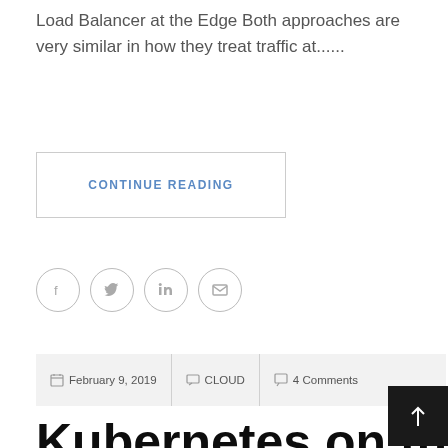Load Balancer at the Edge Both approaches are very similar in how they treat traffic at......
CONTINUE READING
[Figure (infographic): Social sharing icons: Facebook, Twitter, LinkedIn, Email — each in a circle outline]
February 9, 2019   CLOUD   4 Comments
Kubernetes on the cheap